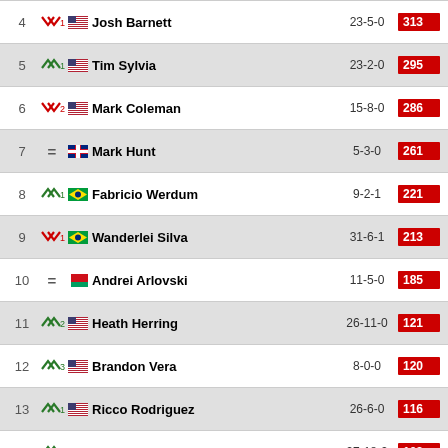| Rank | Trend | Fighter | Record | Points |
| --- | --- | --- | --- | --- |
| 4 | ↓1 | Josh Barnett | 23-5-0 | 313 |
| 5 | ↑1 | Tim Sylvia | 23-2-0 | 295 |
| 6 | ↓2 | Mark Coleman | 15-8-0 | 286 |
| 7 | = | Mark Hunt | 5-3-0 | 261 |
| 8 | ↑1 | Fabricio Werdum | 9-2-1 | 221 |
| 9 | ↓1 | Wanderlei Silva | 31-6-1 | 213 |
| 10 | = | Andrei Arlovski | 11-5-0 | 185 |
| 11 | ↑2 | Heath Herring | 26-11-0 | 121 |
| 12 | ↑3 | Brandon Vera | 8-0-0 | 120 |
| 13 | ↑1 | Ricco Rodriguez | 26-6-0 | 116 |
| 14 | ↑1 | Tsuyoshi Kosaka | 27-18-2 | 109 |
| 15 | ↑1 | Jeff Monson | 23-6-0 | 106 |